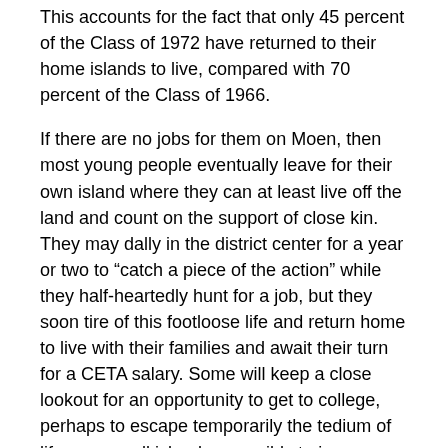This accounts for the fact that only 45 percent of the Class of 1972 have returned to their home islands to live, compared with 70 percent of the Class of 1966.
If there are no jobs for them on Moen, then most young people eventually leave for their own island where they can at least live off the land and count on the support of close kin. They may dally in the district center for a year or two to "catch a piece of the action" while they half-heartedly hunt for a job, but they soon tire of this footloose life and return home to live with their families and await their turn for a CETA salary. Some will keep a close lookout for an opportunity to get to college, perhaps to escape temporarily the tedium of life on a small island or possibly to improve their chances of finding a job in the future. Most, however, simply marry, have children, and settle into the quiet village life that they had known before their high school days.
Admittedly this description runs contrary to the prevailing myth that high school students, once seduced by the bright lights of the district center, will not willingly "return to the farm." Whether willingly or not, they do return. The facts show that over 60 percent of all high school graduates not currently in college are no living